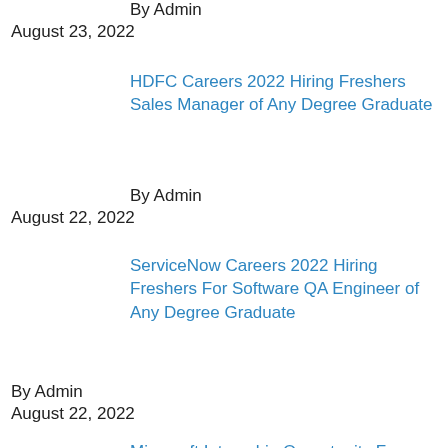By Admin
August 23, 2022
HDFC Careers 2022 Hiring Freshers Sales Manager of Any Degree Graduate
By Admin
August 22, 2022
ServiceNow Careers 2022 Hiring Freshers For Software QA Engineer of Any Degree Graduate
By Admin
August 22, 2022
Microsoft Internship Opportunity For Consulting Services of